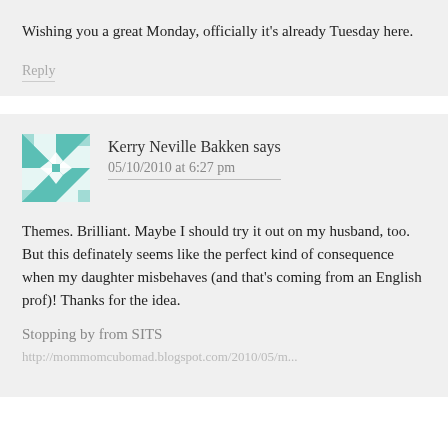Wishing you a great Monday, officially it's already Tuesday here.
Reply
Kerry Neville Bakken says
05/10/2010 at 6:27 pm
Themes. Brilliant. Maybe I should try it out on my husband, too. But this definately seems like the perfect kind of consequence when my daughter misbehaves (and that's coming from an English prof)! Thanks for the idea.
Stopping by from SITS
http://mommomcubomad.blogspot.com/2010/05/m...